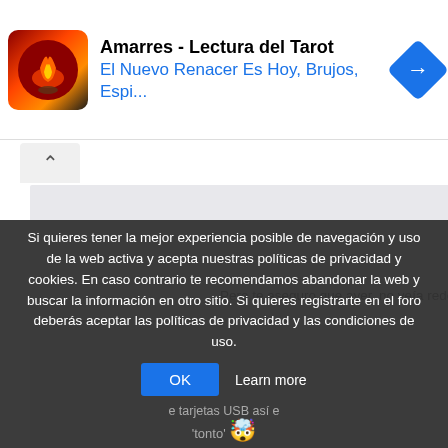[Figure (screenshot): Advertisement banner for 'Amarres - Lectura del Tarot' with flame/hand icon, blue navigation arrow, title text and subtitle in blue]
Pero te aseguro que ayer, no veía redes
Luxury Home Rem
Si quieres tener la mejor experiencia posible de navegación y uso de la web activa y acepta nuestras políticas de privacidad y cookies. En caso contrario te recomendamos abandonar la web y buscar la información en otro sitio. Si quieres registrarte en el foro deberás aceptar las políticas de privacidad y las condiciones de uso.
OK  Learn more
tarjetas USB así e
'tonto' 🤯